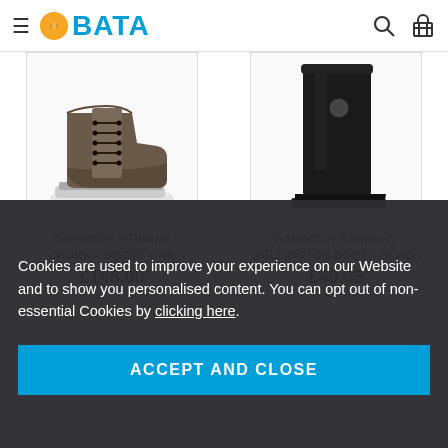BATA — navigation header with hamburger menu, logo, search and basket icons
[Figure (photo): Barbour Pennine Chukka Boots Oak — brown leather ankle boots with lace-up front and rugged sole]
BARBOUR PENNINE CHUKKA BOOTS OAK
£145.00
ex VAT £120.83
[Figure (photo): Barbour Banbury Wellington Boots Black — tall black rubber wellington boot]
BARBOUR BANBURY WELLINGTON BOOTS BLACK
£49.95
ex VAT £41.63
Cookies are used to improve your experience on our Website and to show you personalised content. You can opt out of non-essential Cookies by clicking here.
ACCEPT AND CLOSE